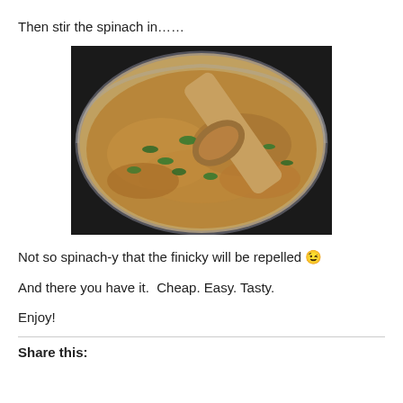Then stir the spinach in……
[Figure (photo): A stainless steel pan filled with a grain dish (lentils or rice) with spinach stirred in, and a wooden spoon resting in the pan.]
Not so spinach-y that the finicky will be repelled 😉
And there you have it.  Cheap. Easy. Tasty.
Enjoy!
Share this: